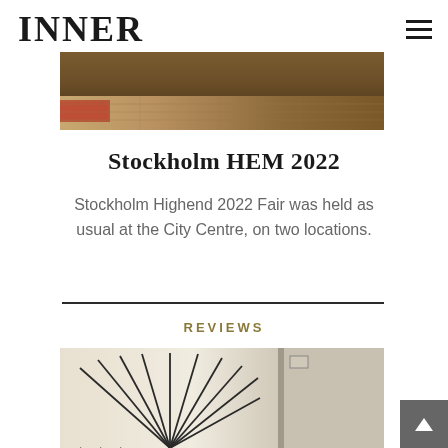INNER
[Figure (photo): Top portion of a room interior showing a wooden floor and partial view of a rug]
Stockholm HEM 2022
Stockholm Highend 2022 Fair was held as usual at the City Centre, on two locations.
REVIEWS
[Figure (photo): Close-up of a speaker or audio equipment with a sunburst/fan pattern design in cream and black colors]